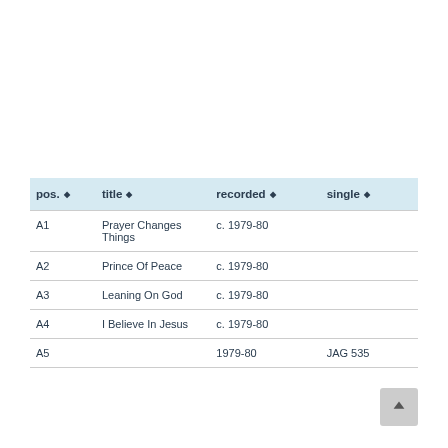| pos. | title | recorded | single |
| --- | --- | --- | --- |
| A1 | Prayer Changes Things | c. 1979-80 |  |
| A2 | Prince Of Peace | c. 1979-80 |  |
| A3 | Leaning On God | c. 1979-80 |  |
| A4 | I Believe In Jesus | c. 1979-80 |  |
| A5 | ... | 1979-80 | JAG 535 |